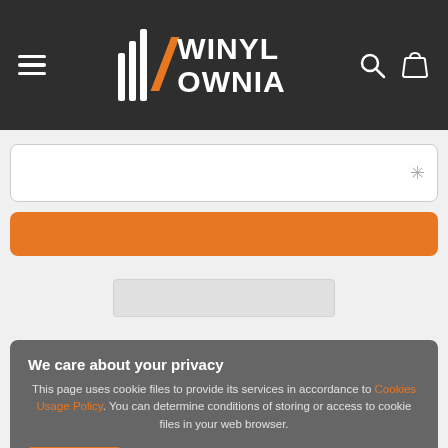[Figure (logo): Winylownia logo with three white vertical bars, an orange slash, and the text WINYL OWNIA in white on a dark grey header bar, plus hamburger menu icon on the left and search/bag icons on the right]
[Figure (screenshot): White input field with a star/asterisk icon on the right side]
[Figure (screenshot): Orange rounded button]
[Figure (screenshot): Light grey rounded rectangle bar centered on a light grey background]
We care about your privacy
This page uses cookie files to provide its services in accordance to Cookies Usage Policy. You can determine conditions of storing or access to cookie files in your web browser.
Close